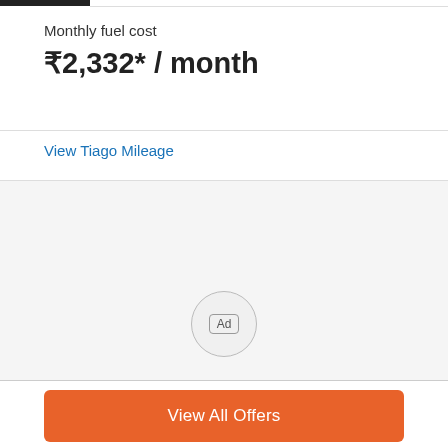Monthly fuel cost
₹2,332* / month
View Tiago Mileage
[Figure (other): Advertisement placeholder area with circular Ad badge]
View All Offers